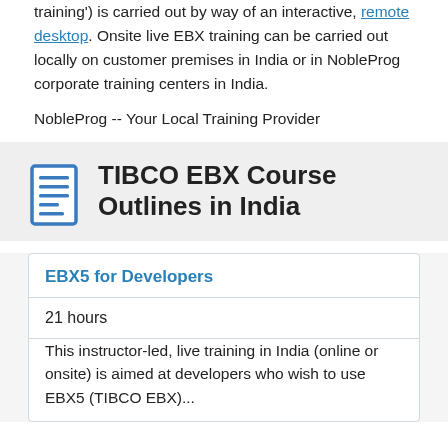training') is carried out by way of an interactive, remote desktop. Onsite live EBX training can be carried out locally on customer premises in India or in NobleProg corporate training centers in India.
NobleProg -- Your Local Training Provider
TIBCO EBX Course Outlines in India
EBX5 for Developers
21 hours
This instructor-led, live training in India (online or onsite) is aimed at developers who wish to use EBX5 (TIBCO EBX)...